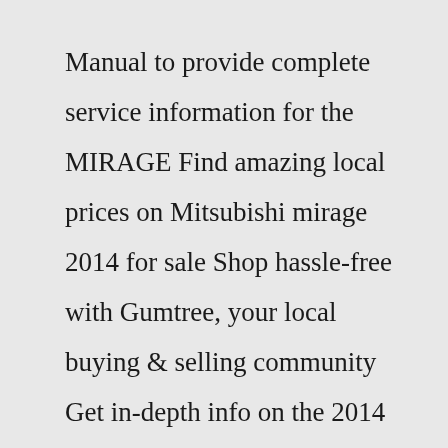Manual to provide complete service information for the MIRAGE Find amazing local prices on Mitsubishi mirage 2014 for sale Shop hassle-free with Gumtree, your local buying & selling community Get in-depth info on the 2014 Mitsubishi Mirage model year including prices, specs, reviews, pictures, safety and reliability ratings Description of this Mitsubishi Mirage 4dr HB Man ES 2-liter 3 … Your 2014